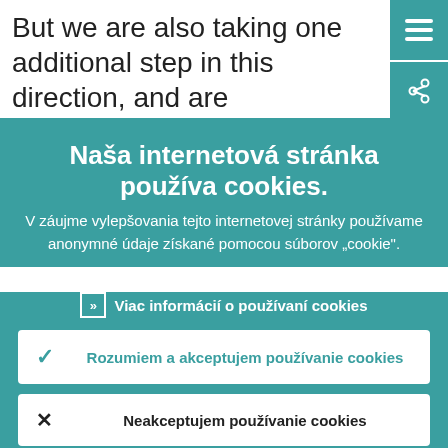But we are also taking one additional step in this direction, and are considering offering banking groups the option of having subsidiaries and parent companies enter
Naša internetová stránka používa cookies.
V záujme vylepšovania tejto internetovej stránky používame anonymné údaje získané pomocou súborov „cookie".
> Viac informácií o používaní cookies
✓ Rozumiem a akceptujem používanie cookies
✗ Neakceptujem používanie cookies